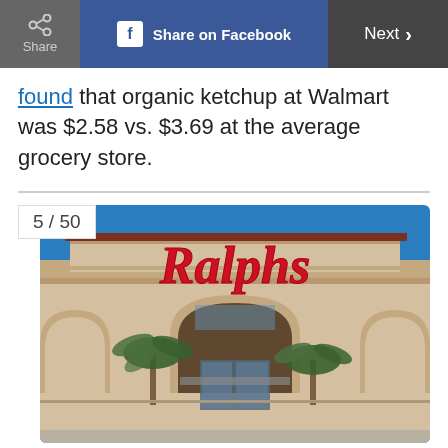Share | Share on Facebook | Next >
found that organic ketchup at Walmart was $2.58 vs. $3.69 at the average grocery store.
[Figure (photo): Exterior of a Ralphs grocery store with large red script logo on a beige building facade, blue sky background, palm trees in front, arched entryway visible.]
5 / 50